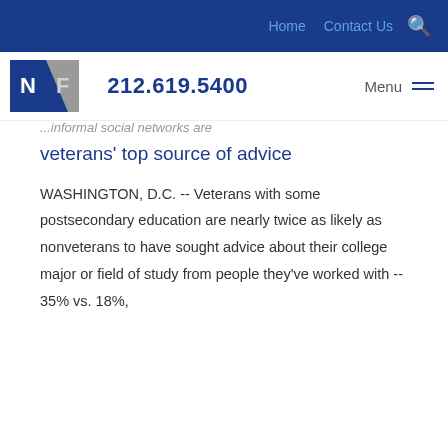Home   Contact Us   [search]
[Figure (logo): NF logo with phone number 212.619.5400 and Menu navigation]
...informal social networks are
veterans' top source of advice
WASHINGTON, D.C. -- Veterans with some postsecondary education are nearly twice as likely as nonveterans to have sought advice about their college major or field of study from people they've worked with -- 35% vs. 18%,